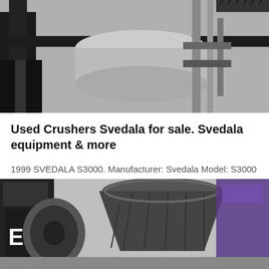[Figure (photo): Industrial machinery photo showing a metal crusher or press frame with rollers and pipes, dark metal structure against a light background.]
Used Crushers Svedala for sale. Svedala equipment & more
1999 SVEDALA S3000. Manufacturer: Svedala Model: S3000 1999 Svedala S-3000 Portable Cone Crusher (S/N 17A088) on Tandem Axle Fisher Industries Chassis, Landing Gear, Brakes,…
[Figure (other): Get Price button — purple/violet rectangular button with white bold text 'Get Price']
[Figure (photo): Photo of a large cone crusher machine, dark gray/black industrial equipment inside a warehouse or facility, with signage visible on the left side.]